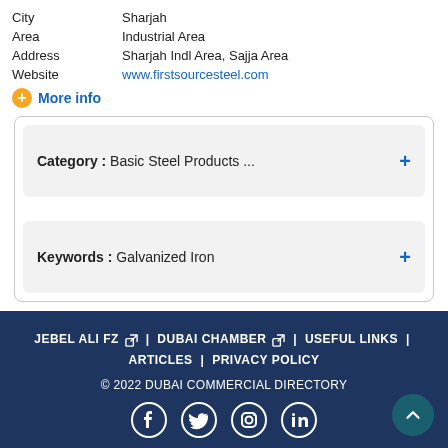City   Sharjah
Area   Industrial Area
Address   Sharjah Indl Area, Sajja Area
Website   www.firstsourcesteel.com
+ More info
Category :  Basic Steel Products ...  +
Keywords :  Galvanized Iron  +
JEBEL ALI FZ | DUBAI CHAMBER | USEFUL LINKS | ARTICLES | PRIVACY POLICY
© 2022 DUBAI COMMERCIAL DIRECTORY